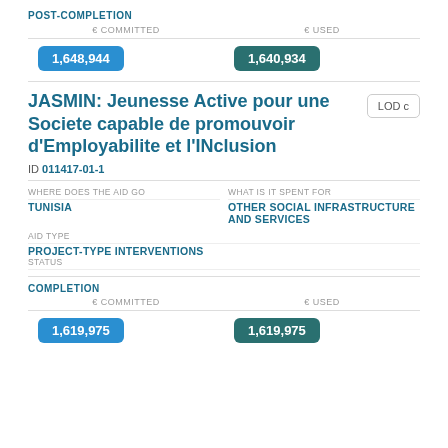POST-COMPLETION
€ COMMITTED
€ USED
1,648,944
1,640,934
JASMIN: Jeunesse Active pour une Societe capable de promouvoir d'Employabilite et l'INclusion
LOD c
ID 011417-01-1
WHERE DOES THE AID GO
WHAT IS IT SPENT FOR
TUNISIA
OTHER SOCIAL INFRASTRUCTURE AND SERVICES
AID TYPE
PROJECT-TYPE INTERVENTIONS
STATUS
COMPLETION
€ COMMITTED
€ USED
1,619,975
1,619,975